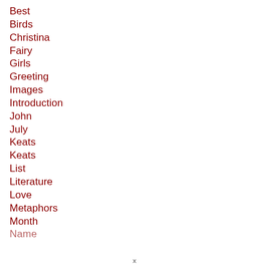Best
Birds
Christina
Fairy
Girls
Greeting
Images
Introduction
John
July
Keats
Keats
List
Literature
Love
Metaphors
Month
Name